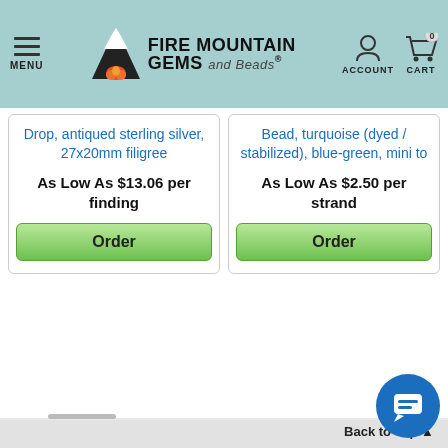Fire Mountain Gems and Beads - MENU | ACCOUNT | CART 0
Drop, antiqued sterling silver, 27x20mm filigree
As Low As $13.06 per finding
Bead, turquoise (dyed / stabilized), blue-green, mini to
As Low As $2.50 per strand
Back to Top ▲
Search over 100,000 Products
Customer Service
1-800-355-2137
FREE Catalog
Employment Opportunities
Sign Up for Email
Wholesale Program